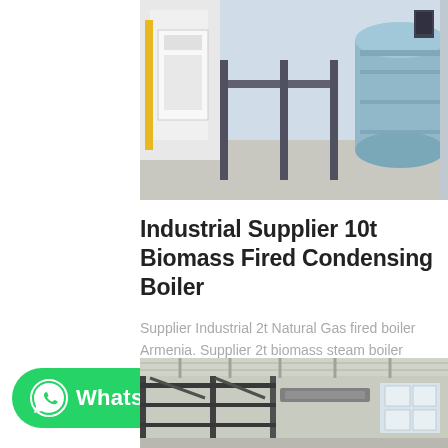[Figure (photo): Industrial boiler equipment in a facility, showing a large cylindrical blue boiler and control panels]
Industrial Supplier 10t Biomass Fired Condensing Boiler
Supplier Industrial 2t Natural Gas fired boiler Armenia. Supplier 2t biomass steam boiler Commercial Philippines. Alibaba Steam Boiler Supplier 30t/h jual boiler biomass good price Oil Fired Boiler...
[Figure (other): WhatsApp contact button with logo and text]
[Figure (photo): Industrial boiler manufacturing facility interior showing large equipment and ceiling structure]